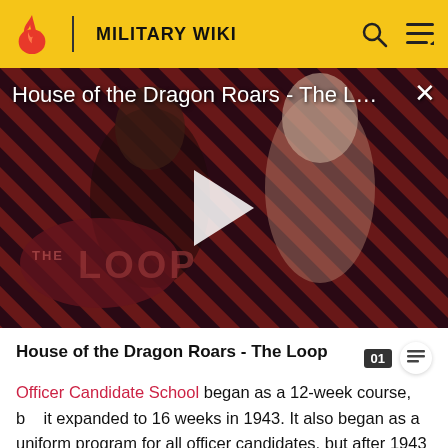MILITARY WIKI
[Figure (screenshot): Video thumbnail for 'House of the Dragon Roars - The L...' showing two characters against a diagonal red and black striped background with 'THE LOOP' text overlay and a play button in the center. A close (X) button appears in the top right.]
House of the Dragon Roars - The Loop
Officer Candidate School began as a 12-week course, but it expanded to 16 weeks in 1943. It also began as a uniform program for all officer candidates, but after 1943 the last phase of training was divided into specialized